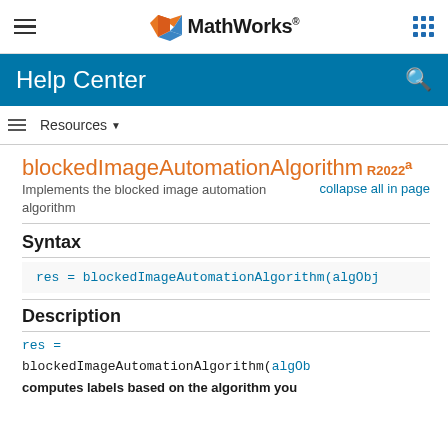MathWorks Help Center
blockedImageAutomationAlgorithm R2022a
Implements the blocked image automation algorithm
collapse all in page
Syntax
res = blockedImageAutomationAlgorithm(algObj
Description
res = blockedImageAutomationAlgorithm(algOb computes labels based on the algorithm you